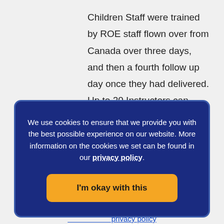Children Staff were trained by ROE staff flown over from Canada over three days, and then a fourth follow up day once they had delivered. Up to 20 Instructors can attend the three day training. Instructors receive a fourth day of training once they
We use cookies to ensure that we provide you with the best possible experience on our website. More information on the cookies we set can be found in our privacy policy.
I'm okay with this